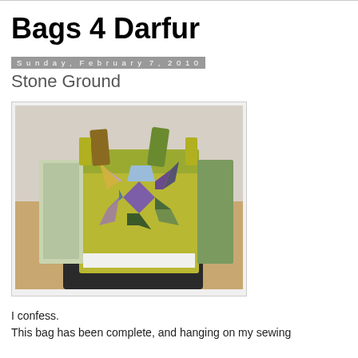Bags 4 Darfur
Sunday, February 7, 2010
Stone Ground
[Figure (photo): A handmade patchwork quilted bag displayed on a dark chair. The bag features a large eight-pointed star quilt block in greens, purples, blues, and patterned fabrics on a yellow-green background.]
I confess.
This bag has been complete, and hanging on my sewing